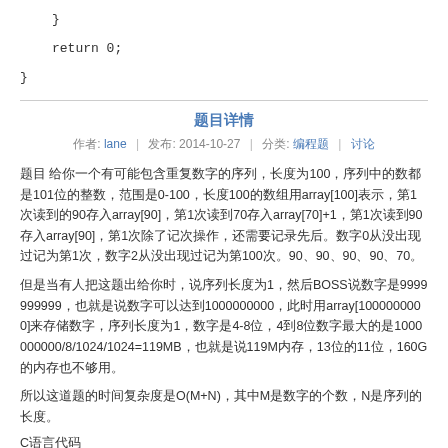}

    return 0;

}
题目详情
作者: lane  |  发布: 2014-10-27  |  分类: 编程题  |  讨论
题目 给你一个有可能包含重复数字的序列，长度为100，序列中的数都是101位的整数，范围是0-100，长度100的数组用array[100]表示，第1次读到的90存入array[90]，第1次读到70存入array[70]+1，第1次读到90存入array[90]，第1次除了记次操作，还需要记录先后。数字0从没出现过记为第1次，数字2从没出现过记为第100次。90、90、90、90、70。
但是当有人把这题出给你时，说序列长度为1，然后BOSS说数字是9999999999，也就是说数字可以达到1000000000，此时用array[1000000000]来存储数字，序列长度为1，数字是4-8位，4到8位数字最大的是1000000000/8/1024/1024=119MB，也就是说119M内存，13位的11位，160G的内存也不够用。
所以这道题的时间复杂度是O(M+N)，其中M是数字的个数，N是序列的长度。
C语言代码